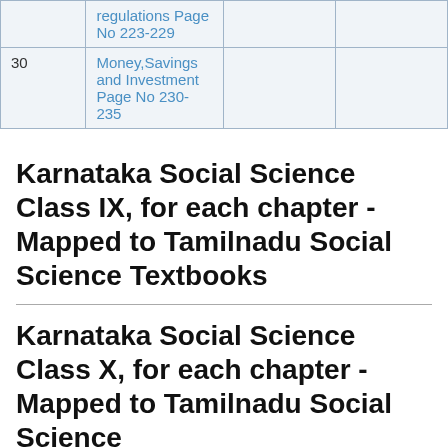|  | regulations Page No 223-229 |  |  |
| 30 | Money,Savings and Investment Page No 230-235 |  |  |
Karnataka Social Science Class IX, for each chapter - Mapped to Tamilnadu Social Science Textbooks
Karnataka Social Science Class X, for each chapter - Mapped to Tamilnadu Social Science